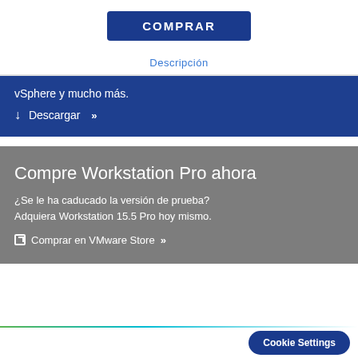COMPRAR
Descripción
vSphere y mucho más.
↓ Descargar »
Compre Workstation Pro ahora
¿Se le ha caducado la versión de prueba? Adquiera Workstation 15.5 Pro hoy mismo.
⧉ Comprar en VMware Store »
Cookie Settings